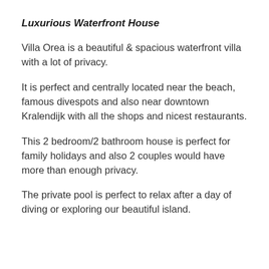Luxurious Waterfront House
Villa Orea is a beautiful & spacious waterfront villa with a lot of privacy.
It is perfect and centrally located near the beach, famous divespots and also near downtown Kralendijk with all the shops and nicest restaurants.
This 2 bedroom/2 bathroom house is perfect for family holidays and also 2 couples would have more than enough privacy.
The private pool is perfect to relax after a day of diving or exploring our beautiful island.